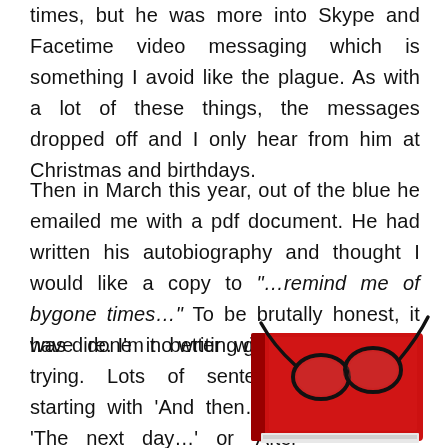times, but he was more into Skype and Facetime video messaging which is something I avoid like the plague. As with a lot of these things, the messages dropped off and I only hear from him at Christmas and birthdays.
Then in March this year, out of the blue he emailed me with a pdf document. He had written his autobiography and thought I would like a copy to “…remind me of bygone times…” To be brutally honest, it was dire. I’m no writing guru, but I could have done it better without trying. Lots of sentences starting with ‘And then…’ or ‘The next day…’ or ‘After that…”
[Figure (illustration): A red hardcover book with a pair of round black-framed glasses resting on top of it]